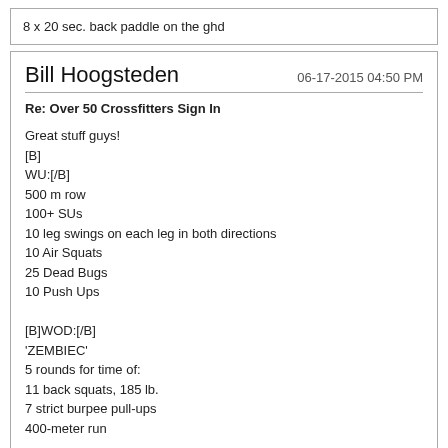8 x 20 sec. back paddle on the ghd
Bill Hoogsteden
06-17-2015 04:50 PM
Re: Over 50 Crossfitters Sign In
Great stuff guys!
[B]
WU:[/B]
500 m row
100+ SUs
10 leg swings on each leg in both directions
10 Air Squats
25 Dead Bugs
10 Push Ups

[B]WOD:[/B]
'ZEMBIEC'
5 rounds for time of:
11 back squats, 185 lb.
7 strict burpee pull-ups
400-meter run

Rx'd

39:06